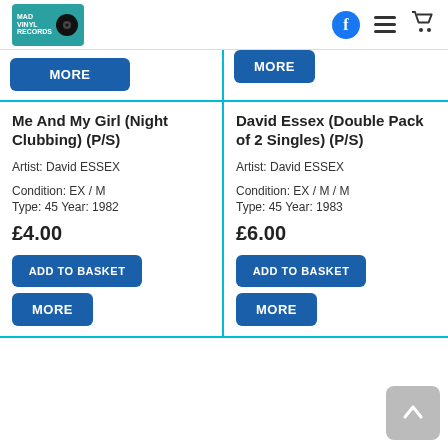MadVINYL Records - Navigation header with Facebook, menu, and cart icons
MORE (button, top-left)
MORE (button, top-right)
Me And My Girl (Night Clubbing) (P/S)
Artist: David ESSEX
Condition: EX / M
Type: 45 Year: 1982
£4.00
ADD TO BASKET
MORE
David Essex (Double Pack of 2 Singles) (P/S)
Artist: David ESSEX
Condition: EX / M / M
Type: 45 Year: 1983
£6.00
ADD TO BASKET
MORE